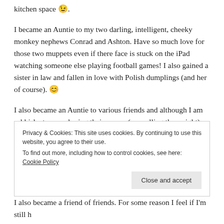kitchen space 😉.
I became an Auntie to my two darling, intelligent, cheeky monkey nephews Conrad and Ashton. Have so much love for those two muppets even if there face is stuck on the iPad watching someone else playing football games!  I also gained a sister in law and fallen in love with Polish dumplings (and her of course). 😊
I also became an Auntie to various friends and although I am rubbish at remembering their names (or spelling them right) and also forgetting partner names, I care about them all very much.
Privacy & Cookies: This site uses cookies. By continuing to use this website, you agree to their use. To find out more, including how to control cookies, see here: Cookie Policy
Close and accept
I also became a friend to...